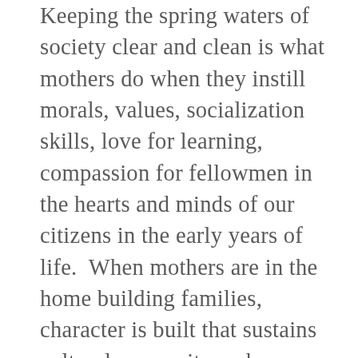Keeping the spring waters of society clear and clean is what mothers do when they instill morals, values, socialization skills, love for learning, compassion for fellowmen in the hearts and minds of our citizens in the early years of life.  When mothers are in the home building families, character is built that sustains cultural prosperity and success.  Likewise, tremendous amounts of social data show that when homes are broken and dysfunctional, society suffers socially, educationally, and financially.  The problems of divorce, devaluation of parenting, declining family time, confusions over sexual identity, promiscuity, sexually transmitted diseases, abortion, poverty, excessive taxation and below replacement fertility, moral decline,